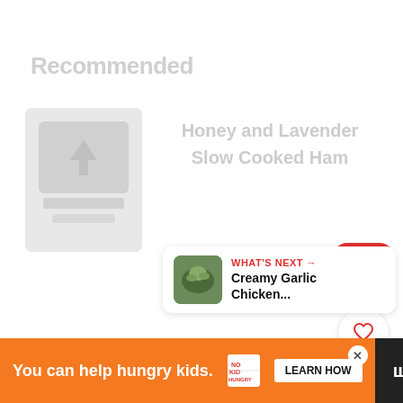Recommended
[Figure (photo): Faded recipe image placeholder with arrow icon]
Honey and Lavender Slow Cooked Ham
[Figure (infographic): Red upload button with upward arrow icon]
[Figure (infographic): White heart icon button]
7.7K
[Figure (infographic): White share/connect button with plus icon]
[Figure (photo): What's Next panel showing Creamy Garlic Chicken photo thumbnail]
WHAT'S NEXT → Creamy Garlic Chicken...
[Figure (infographic): Orange advertisement banner: You can help hungry kids. No Kid Hungry. Learn How.]